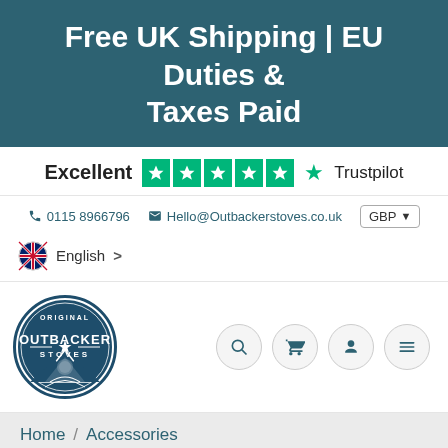Free UK Shipping | EU Duties & Taxes Paid
[Figure (infographic): Trustpilot rating showing Excellent with 5 green stars and Trustpilot logo]
0115 8966796   Hello@Outbackerstoves.co.uk   GBP
English
[Figure (logo): Original Outbacker Stoves circular logo with mountain and road illustration]
Home / Accessories / 4 inch Water Heater For Outbacker Hygge or Frontier Plus Stoves